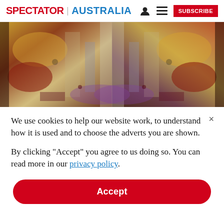SPECTATOR | AUSTRALIA
[Figure (photo): Abstract colorful artwork image used as hero banner, with mirrored/symmetrical patterns in red, yellow, brown and purple tones]
We use cookies to help our website work, to understand how it is used and to choose the adverts you are shown.
By clicking "Accept" you agree to us doing so. You can read more in our privacy policy.
Accept